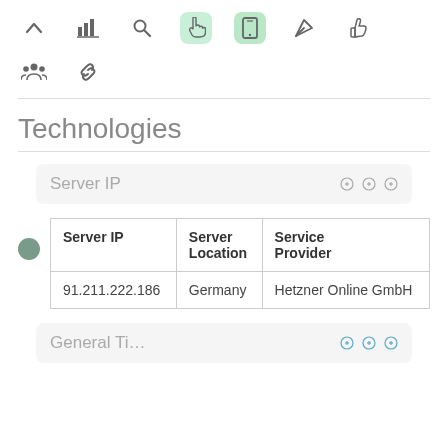[Figure (screenshot): Toolbar with navigation icons: up arrow, bar chart, search, hand pointer (light green bg), mobile phone (green bg), send/rocket, thumbs up]
[Figure (screenshot): Second toolbar row with people group icon and chain/link icon]
Technologies
Server IP
| Server IP | Server Location | Service Provider |
| --- | --- | --- |
| 91.211.222.186 | Germany | Hetzner Online GmbH |
General Ti...